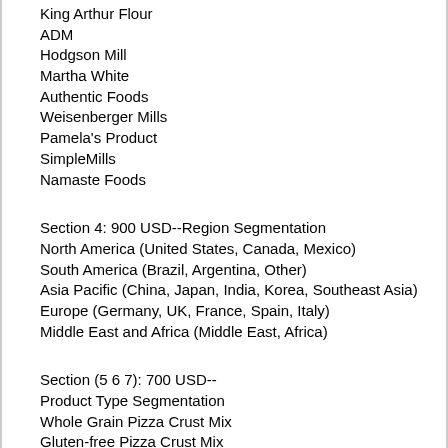King Arthur Flour
ADM
Hodgson Mill
Martha White
Authentic Foods
Weisenberger Mills
Pamela's Product
SimpleMills
Namaste Foods
Section 4: 900 USD--Region Segmentation
North America (United States, Canada, Mexico)
South America (Brazil, Argentina, Other)
Asia Pacific (China, Japan, India, Korea, Southeast Asia)
Europe (Germany, UK, France, Spain, Italy)
Middle East and Africa (Middle East, Africa)
Section (5 6 7): 700 USD--
Product Type Segmentation
Whole Grain Pizza Crust Mix
Gluten-free Pizza Crust Mix
Application Segmentation
Supermarket
Convenience Store